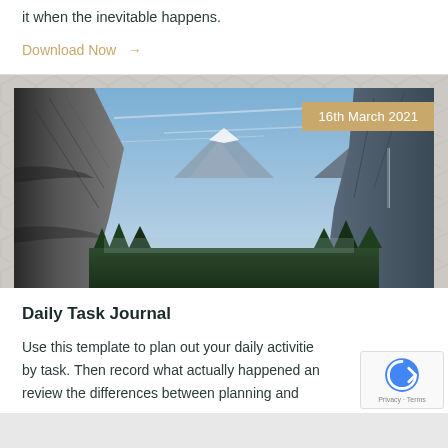it when the inevitable happens.
Download Now →
[Figure (photo): Mountain valley landscape photo (Yosemite-style) with granite cliffs and blue sky, date badge '16th March 2021' in top right corner]
Daily Task Journal
Use this template to plan out your daily activities by task. Then record what actually happened and review the differences between planning and